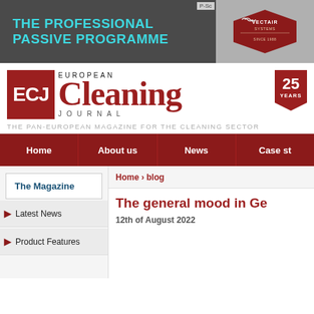[Figure (screenshot): Vectair Systems banner advertisement with text 'THE PROFESSIONAL PASSIVE PROGRAMME' on dark grey background with Vectair Systems logo (Since 1988) on right side]
[Figure (logo): ECJ European Cleaning Journal logo with red ECJ box, large red Cleaning text in serif font, JOURNAL in spaced caps, and 25 YEARS badge]
THE PAN-EUROPEAN MAGAZINE FOR THE CLEANING SECTOR
Home  About us  News  Case st
The Magazine
Home › blog
Latest News
The general mood in Ge
Product Features
12th of August 2022